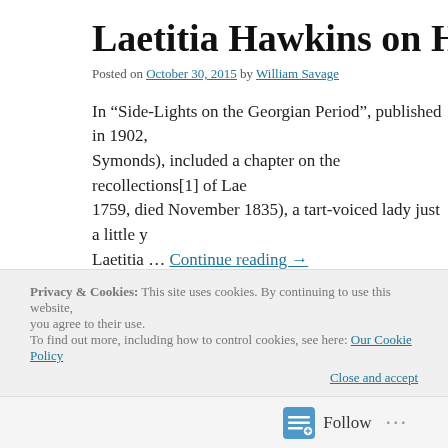Laetitia Hawkins on Horace W
Posted on October 30, 2015 by William Savage
In “Side-Lights on the Georgian Period”, published in 1902, Symonds), included a chapter on the recollections[1] of Lae 1759, died November 1835), a tart-voiced lady just a little y Laetitia … Continue reading →
Posted in Georgian Society | Comments Off
Privacy & Cookies: This site uses cookies. By continuing to use this website, you agree to their use.
To find out more, including how to control cookies, see here: Our Cookie Policy
Close and accept
Follow